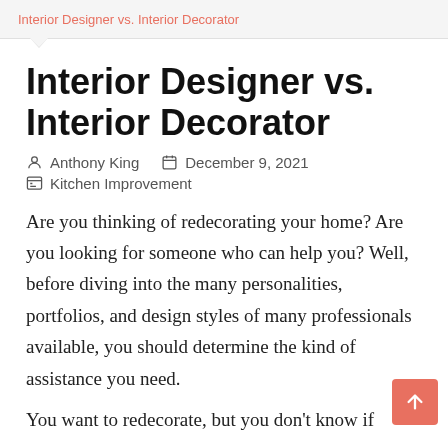Interior Designer vs. Interior Decorator
Interior Designer vs. Interior Decorator
Anthony King   December 9, 2021   Kitchen Improvement
Are you thinking of redecorating your home? Are you looking for someone who can help you? Well, before diving into the many personalities, portfolios, and design styles of many professionals available, you should determine the kind of assistance you need.
You want to redecorate, but you don't know if